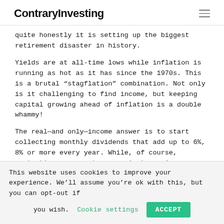ContraryInvesting
quite honestly it is setting up the biggest retirement disaster in history.
Yields are at all-time lows while inflation is running as hot as it has since the 1970s. This is a brutal “stagflation” combination. Not only is it challenging to find income, but keeping capital growing ahead of inflation is a double whammy!
The real—and only—income answer is to start collecting monthly dividends that add up to 6%, 8% or more every year. While, of course, protecting your nest egg against soaring prices. .
This website uses cookies to improve your experience. We’ll assume you’re ok with this, but you can opt-out if you wish. Cookie settings ACCEPT